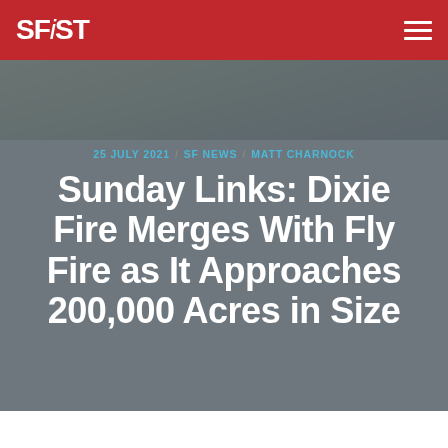SFiST
[Figure (map): Map background showing a geographic area, partially visible behind a dark semi-transparent overlay]
25 JULY 2021 / SF NEWS / MATT CHARNOCK
Sunday Links: Dixie Fire Merges With Fly Fire as It Approaches 200,000 Acres in Size